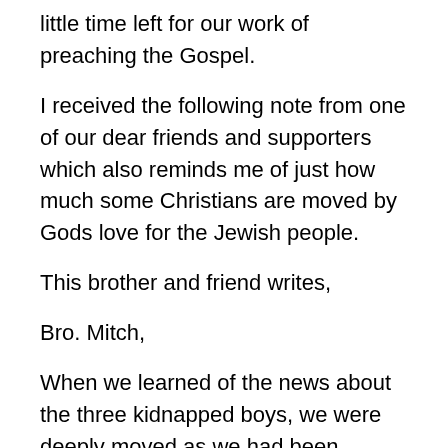little time left for our work of preaching the Gospel.
I received the following note from one of our dear friends and supporters which also reminds me of just how much some Christians are moved by Gods love for the Jewish people.
This brother and friend writes,
Bro. Mitch,
When we learned of the news about the three kidnapped boys, we were deeply moved as we had been following this story daily in the online Israeli newspapers. I am privileged to teach an adult SS class each week and they enjoy being kept up to date on news from Israel. I use Powerpoint to show map locations, headlines, and had shown pictures of the boys with their names. I know